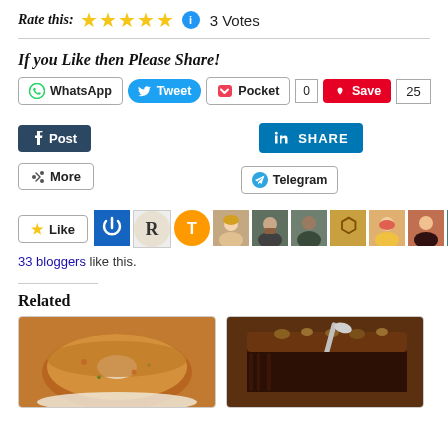Rate this: ★★★★★ ℹ 3 Votes
If you Like then Please Share!
[Figure (screenshot): Social share buttons: WhatsApp, Tweet, Pocket (0), Save (25), Post (Tumblr), LinkedIn SHARE, Telegram, More]
[Figure (screenshot): Like button and 33 blogger avatars row]
33 bloggers like this.
Related
[Figure (photo): Photo of a ring-shaped cake with dried fruits on a white plate]
[Figure (photo): Photo of a chocolate brownie with nuts being served with a spoon]